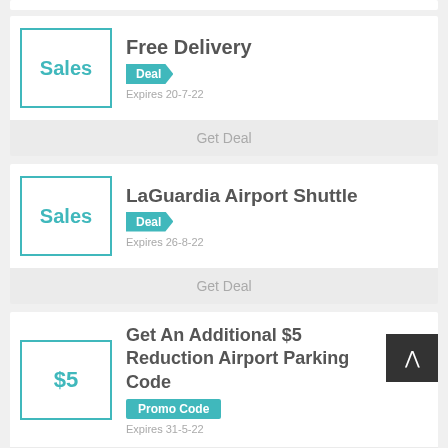[Figure (other): Partial white card at top]
Free Delivery
Deal
Expires 20-7-22
Get Deal
LaGuardia Airport Shuttle
Deal
Expires 26-8-22
Get Deal
Get An Additional $5 Reduction Airport Parking Code
Promo Code
Expires 31-5-22
PIT416